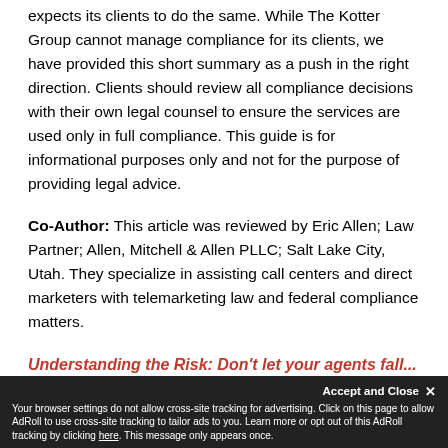expects its clients to do the same.  While The Kotter Group cannot manage compliance for its clients, we have provided this short summary as a push in the right direction.  Clients should review all compliance decisions with their own legal counsel to ensure the services are used only in full compliance. This guide is for informational purposes only and not for the purpose of providing legal advice.
Co-Author: This article was reviewed by Eric Allen; Law Partner; Allen, Mitchell & Allen PLLC; Salt Lake City, Utah.  They specialize in assisting call centers and direct marketers with telemarketing law and federal compliance matters.
Understanding the Risk: Don't let your agents fall...
Cookie banner: Accept and Close. Your browser settings do not allow cross-site tracking for advertising. Click on this page to allow AdRoll to use cross-site tracking to tailor ads to you. Learn more or opt out of this AdRoll tracking by clicking here. This message only appears once.